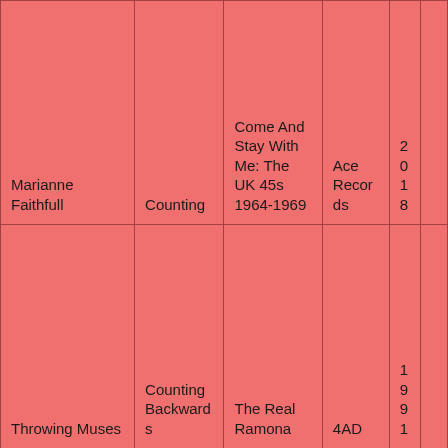| Marianne Faithfull | Counting | Come And Stay With Me: The UK 45s 1964-1969 | Ace Records | 2018 |  |
| Throwing Muses | Counting Backwards | The Real Ramona | 4AD | 1991 |  |